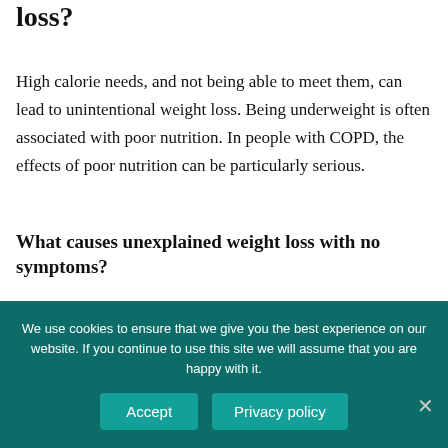loss?
High calorie needs, and not being able to meet them, can lead to unintentional weight loss. Being underweight is often associated with poor nutrition. In people with COPD, the effects of poor nutrition can be particularly serious.
What causes unexplained weight loss with no symptoms?
Usually, an unrecognized cancer will have other symptoms or abnormalities of laboratory tests, in addition to unexplained
We use cookies to ensure that we give you the best experience on our website. If you continue to use this site we will assume that you are happy with it.